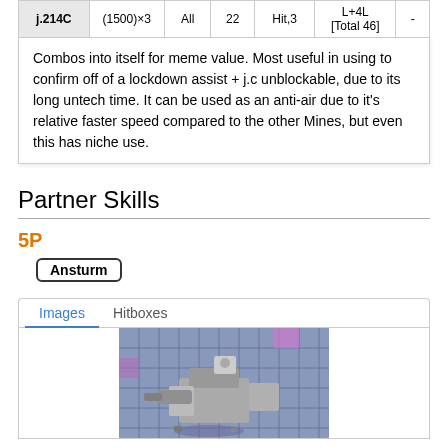| j.214C | (1500)×3 | All | 22 | Hit,3 | L+4L [Total 46] | - |
| --- | --- | --- | --- | --- | --- | --- |
| j.214C | (1500)×3 | All | 22 | Hit,3 | L+4L [Total 46] | - |
Combos into itself for meme value. Most useful in using to confirm off of a lockdown assist + j.c unblockable, due to its long untech time. It can be used as an anti-air due to it's relative faster speed compared to the other Mines, but even this has niche use.
Partner Skills
5P
Ansturm
[Figure (screenshot): Game screenshot showing a large mechanical unit/mech in a grid-patterned arena with purple and teal colored background elements.]